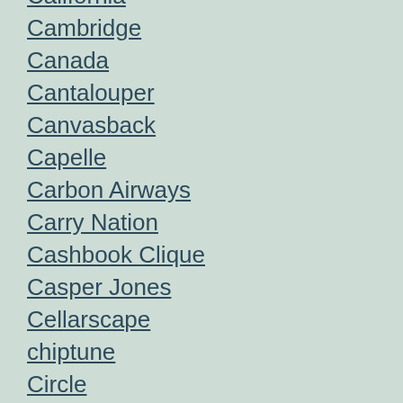California
Cambridge
Canada
Cantalouper
Canvasback
Capelle
Carbon Airways
Carry Nation
Cashbook Clique
Casper Jones
Cellarscape
chiptune
Circle
Citation Records